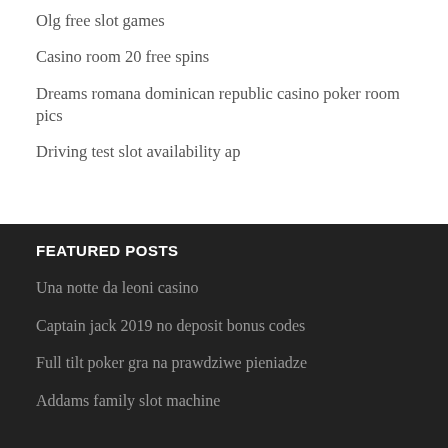Olg free slot games
Casino room 20 free spins
Dreams romana dominican republic casino poker room pics
Driving test slot availability ap
FEATURED POSTS
Una notte da leoni casino
Captain jack 2019 no deposit bonus codes
Full tilt poker gra na prawdziwe pieniadze
Addams family slot machine